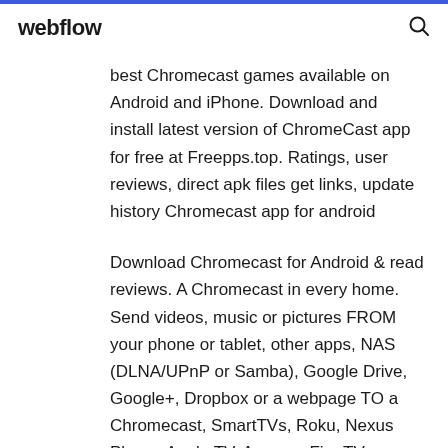webflow
best Chromecast games available on Android and iPhone. Download and install latest version of ChromeCast app for free at Freepps.top. Ratings, user reviews, direct apk files get links, update history Chromecast app for android
Download Chromecast for Android & read reviews. A Chromecast in every home. Send videos, music or pictures FROM your phone or tablet, other apps, NAS (DLNA/UPnP or Samba), Google Drive, Google+, Dropbox or a webpage TO a Chromecast, SmartTVs, Roku, Nexus Player, Apple TV, Amazon Fire TV or Stick, Sony Bravia... Download LocalCast App for Chromecast to hint the top and ...